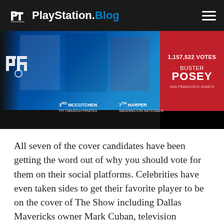PlayStation.Blog
[Figure (screenshot): MLB The Show cover vote screen showing baseball players. 3rd McCutchen (Pittsburgh Pirates), 7th Harper (Washington Nationals), and a red box showing 1,157,522 votes for Buster Posey, San Francisco Giants.]
All seven of the cover candidates have been getting the word out of why you should vote for them on their social platforms. Celebrities have even taken sides to get their favorite player to be on the cover of The Show including Dallas Mavericks owner Mark Cuban, television personality Larry King, film director Spike Lee, Minnesota Vikings running back Adrian Peterson, chef and